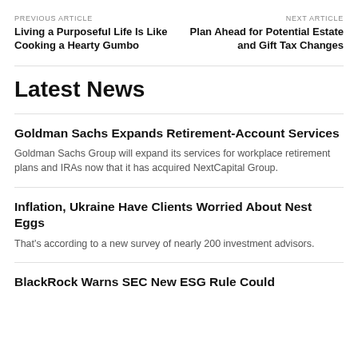PREVIOUS ARTICLE
Living a Purposeful Life Is Like Cooking a Hearty Gumbo
NEXT ARTICLE
Plan Ahead for Potential Estate and Gift Tax Changes
Latest News
Goldman Sachs Expands Retirement-Account Services
Goldman Sachs Group will expand its services for workplace retirement plans and IRAs now that it has acquired NextCapital Group.
Inflation, Ukraine Have Clients Worried About Nest Eggs
That's according to a new survey of nearly 200 investment advisors.
BlackRock Warns SEC New ESG Rule Could